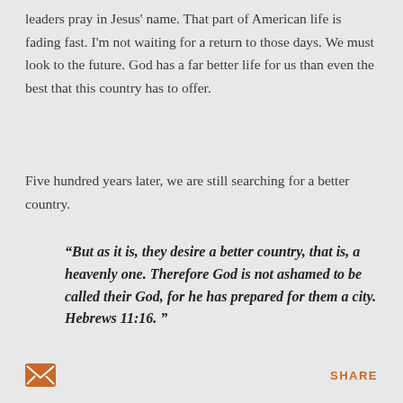leaders pray in Jesus' name. That part of American life is fading fast. I'm not waiting for a return to those days. We must look to the future. God has a far better life for us than even the best that this country has to offer.
Five hundred years later, we are still searching for a better country.
“But as it is, they desire a better country, that is, a heavenly one. Therefore God is not ashamed to be called their God, for he has prepared for them a city. Hebrews 11:16.”
SHARE